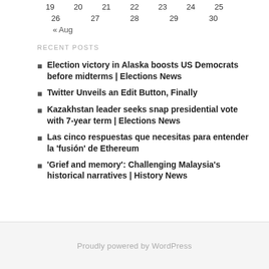19  20  21  22  23  24  25
26  27  28  29  30
« Aug
RECENT POSTS
Election victory in Alaska boosts US Democrats before midterms | Elections News
Twitter Unveils an Edit Button, Finally
Kazakhstan leader seeks snap presidential vote with 7-year term | Elections News
Las cinco respuestas que necesitas para entender la 'fusión' de Ethereum
'Grief and memory': Challenging Malaysia's historical narratives | History News
Proudly powered by WordPress